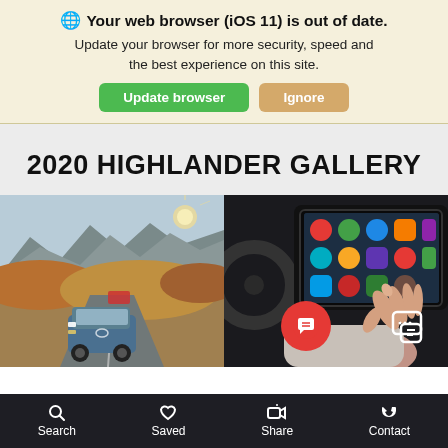🌐 Your web browser (iOS 11) is out of date. Update your browser for more security, speed and the best experience on this site.
Update browser | Ignore
2020 HIGHLANDER GALLERY
[Figure (photo): Toyota Highlander SUV driving on a mountain road with autumn landscape and mountains in background]
[Figure (photo): Person touching a large touchscreen infotainment display in the Toyota Highlander interior showing Android Auto apps]
Search  Saved  Share  Contact